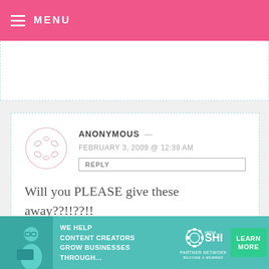MENU
ANONYMOUS — FEBRUARY 3, 2009 @ 12:39 AM
REPLY

Will you PLEASE give these away??!!??!!

to me!! :)

This is WONDERFUL!!!
[Figure (infographic): SHE Partner Network advertisement banner: We help content creators grow businesses through... with Learn More button]